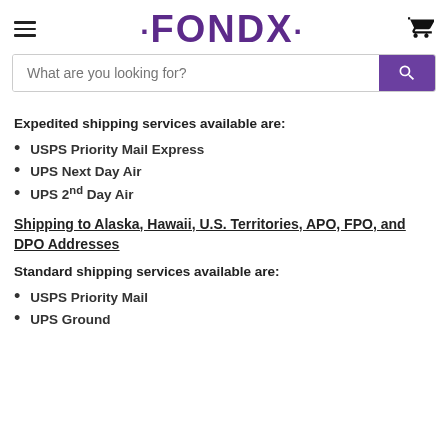FONDX
Expedited shipping services available are:
USPS Priority Mail Express
UPS Next Day Air
UPS 2nd Day Air
Shipping to Alaska, Hawaii, U.S. Territories, APO, FPO, and DPO Addresses
Standard shipping services available are:
USPS Priority Mail
UPS Ground